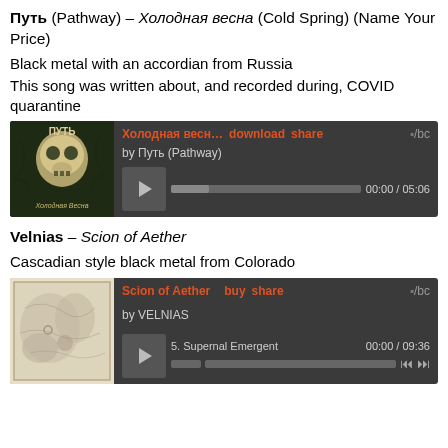Путь (Pathway) – Холодная весна (Cold Spring) (Name Your Price)
Black metal with an accordian from Russia
This song was written about, and recorded during, COVID quarantine
[Figure (screenshot): Bandcamp embedded music player for 'Холодная весн...' by Путь (Pathway), showing album art with skull image and text 'Холодная Весна', play button, progress bar showing 00:00 / 05:06, with download and share links]
Velnias – Scion of Aether
Cascadian style black metal from Colorado
[Figure (screenshot): Bandcamp embedded music player for 'Scion of Aether' by VELNIAS, showing album art with pale textured map-like image, play button, track '5. Supernal Emergent', progress bar showing 00:00 / 09:36, with buy and share links and skip controls]